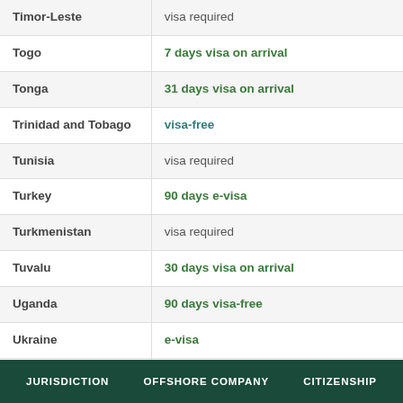| Country | Visa Status |
| --- | --- |
| Timor-Leste | visa required |
| Togo | 7 days visa on arrival |
| Tonga | 31 days visa on arrival |
| Trinidad and Tobago | visa-free |
| Tunisia | visa required |
| Turkey | 90 days e-visa |
| Turkmenistan | visa required |
| Tuvalu | 30 days visa on arrival |
| Uganda | 90 days visa-free |
| Ukraine | e-visa |
| United Arab | e-visa |
JURISDICTION   OFFSHORE COMPANY   CITIZENSHIP